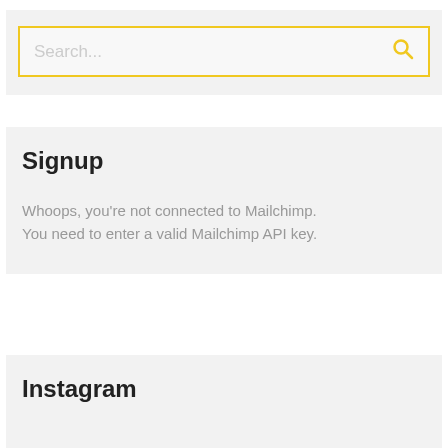[Figure (screenshot): Search widget with yellow border input box and search icon]
Signup
Whoops, you're not connected to Mailchimp. You need to enter a valid Mailchimp API key.
Instagram